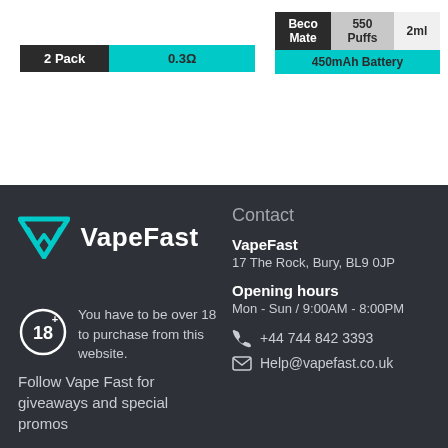| 2 Pack | 0.3Ω |
| --- | --- |
| Beco Mate | 550 Puffs | 2ml |
| --- | --- | --- |
| 450mAh Battery |  |  |
[Figure (logo): VapeFast logo with teal geometric V/W shape and white text VapeFast]
You have to be over 18 to purchase from this website.
Follow Vape Fast for giveaways and special promos
Contact
VapeFast
17 The Rock, Bury, BL9 0JP
Opening hours
Mon - Sun / 9:00AM - 8:00PM
+44 744 842 3393
Help@vapefast.co.uk